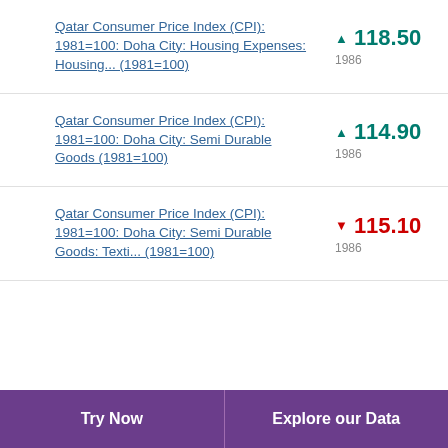Qatar Consumer Price Index (CPI): 1981=100: Doha City: Housing Expenses: Housing... (1981=100) ▲ 118.50 1986
Qatar Consumer Price Index (CPI): 1981=100: Doha City: Semi Durable Goods (1981=100) ▲ 114.90 1986
Qatar Consumer Price Index (CPI): 1981=100: Doha City: Semi Durable Goods: Texti... (1981=100) ▼ 115.10 1986
Try Now   Explore our Data